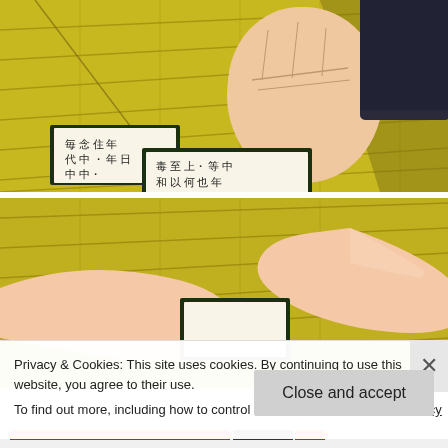[Figure (illustration): Anime screenshot showing a fist on a yellow-green tatami mat surface with karuta cards (Japanese poem cards) featuring handwritten characters, viewed from above]
[Figure (illustration): Anime screenshot showing hands on a yellow-green tatami mat surface reaching toward a karuta card, viewed from above]
Privacy & Cookies: This site uses cookies. By continuing to use this website, you agree to their use.
To find out more, including how to control cookies, see here: Cookie Policy